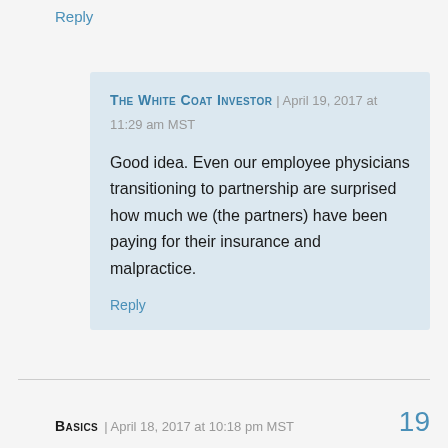Reply
The White Coat Investor | April 19, 2017 at 11:29 am MST

Good idea. Even our employee physicians transitioning to partnership are surprised how much we (the partners) have been paying for their insurance and malpractice.

Reply
Basics | April 18, 2017 at 10:18 pm MST  19